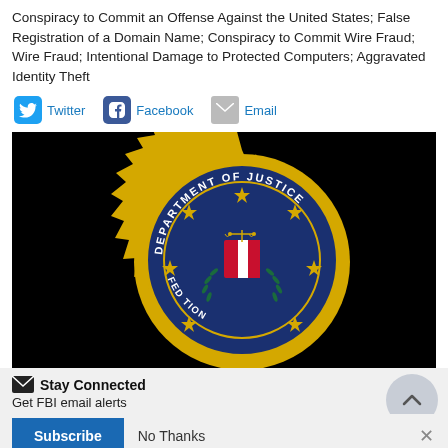Conspiracy to Commit an Offense Against the United States; False Registration of a Domain Name; Conspiracy to Commit Wire Fraud; Wire Fraud; Intentional Damage to Protected Computers; Aggravated Identity Theft
Twitter
Facebook
Email
[Figure (logo): Department of Justice / FBI seal on black background — circular blue seal with gold starburst border, text 'DEPARTMENT OF JUSTICE' and 'FED' visible, scales of justice and shield in center]
Stay Connected
Get FBI email alerts
Subscribe   No Thanks